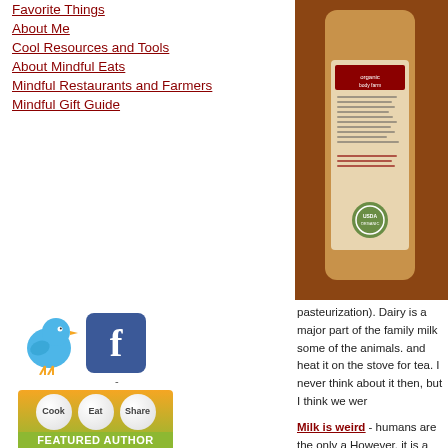Favorite Things
About Me
Cool Resources and Tools
About Mindful Eats
Mindful Restaurants and Farmers
Mindful Gift Guide
[Figure (photo): Twitter bird icon and Facebook icon side by side]
[Figure (infographic): Cook Eat Share Featured Author badge with photo]
[Figure (photo): Organic body lotion product bottle with label text visible]
pasteurization). Dairy is a major part of the family milk some of the animals. and heat it on the stove for tea. I never think about it then, but I think we wer
Milk is weird - humans are the only a However, it is a good source of calciu majority of milk in the U.S. is pasteur addition to milk, many other beverage beer, wine, almonds, etc.
So what is pasteurization and why is i
Pasteurization kills dangerous microo